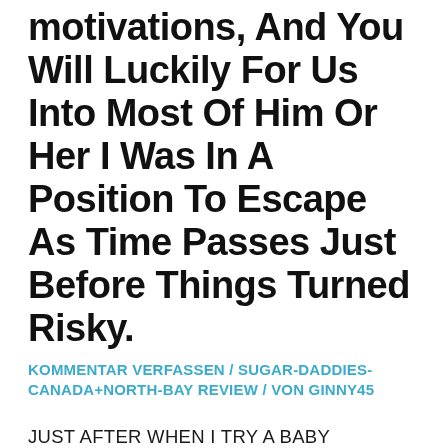motivations, And You Will Luckily For Us Into Most Of Him Or Her I Was In A Position To Escape As Time Passes Just Before Things Turned Risky.
KOMMENTAR VERFASSEN / SUGAR-DADDIES-CANADA+NORTH-BAY REVIEW / VON GINNY45
JUST AFTER WHEN I TRY A BABY HOMOSEXUAL, A BUDDY BELIEVED TO ME YOU TO DEFINITELY “A SPOUSE WAS A SPOUSE IS ACTUALLY A WIFE,” AND THIS VERY EARLIEST GUIDANCE GOT MOST LIFE ALTERING. SUCH AS FOR EXAMPLE, ONCE YOU HAVE BEING THEN MOST OPPORTUNITIES